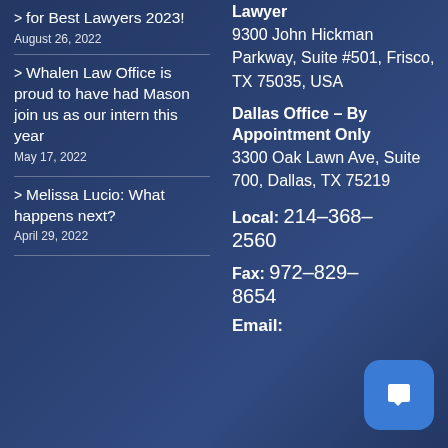for Best Lawyers 2023! August 26, 2022
Whalen Law Office is proud to have had Mason join us as our intern this year May 17, 2022
Melissa Lucio: What happens next? April 29, 2022
Lawyer
9300 John Hickman Parkway, Suite #501, Frisco, TX 75035, USA
Dallas Office – By Appointment Only
3300 Oak Lawn Ave, Suite 700, Dallas, TX 75219
Local: 214–368–2560
Fax: 972–829–8654
Email: